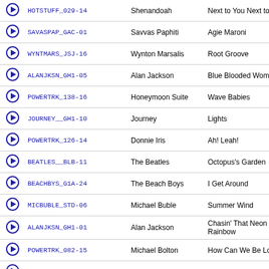|  | Code | Artist | Title |
| --- | --- | --- | --- |
| ▶ | HOTSTUFF_029-14 | Shenandoah | Next to You Next to Me |
| ▶ | SAVASPAP_GAC-01 | Savvas Paphiti | Agie Maroni |
| ▶ | WYNTMARS_JSJ-16 | Wynton Marsalis | Root Groove |
| ▶ | ALANJKSN_GH1-05 | Alan Jackson | Blue Blooded Woman |
| ▶ | POWERTRK_138-16 | Honeymoon Suite | Wave Babies |
| ▶ | JOURNEY__GH1-10 | Journey | Lights |
| ▶ | POWERTRK_126-14 | Donnie Iris | Ah! Leah! |
| ▶ | BEATLES__BLB-11 | The Beatles | Octopus's Garden |
| ▶ | BEACHBYS_G1A-24 | The Beach Boys | I Get Around |
| ▶ | MICBUBLE_STD-06 | Michael Buble | Summer Wind |
| ▶ | ALANJKSN_GH1-01 | Alan Jackson | Chasin' That Neon Rainbow |
| ▶ | POWERTRK_082-15 | Michael Bolton | How Can We Be Lovers |
| ▶ | YES______G1C-13 | Yes | Does It Really Happen? |
| ▶ | SATFEVER_ST1-10 | David Shire | Night on Disco Mountain |
| ▶ | DTRANDOM_019-05 | The Special AKA | Free Nelson Mandela |
| ▶ | DTRANDOM_008-13 | Dolly Parton | Jolene |
| ▶ | PARTYTIM_005-18 | The Beach Boys | Beach Boys Medley |
| ▶ | POWERTRK_091-14 | Chuck Berry | Sweet Little Sixteen |
| ▶ | TRIUMPH__LV1-12 | Triumph | Mind Games |
| ▶ | BEACHBYS_G1E-05 | The Beach Boys | Dance, Dance, Dance [Tracking Session] |
| ▶ | SALSA____HS1-10 | Johnny Ray | You Are My Everything |
| ▶ | YES______G1C-14 | Yes | Tempus Fugit |